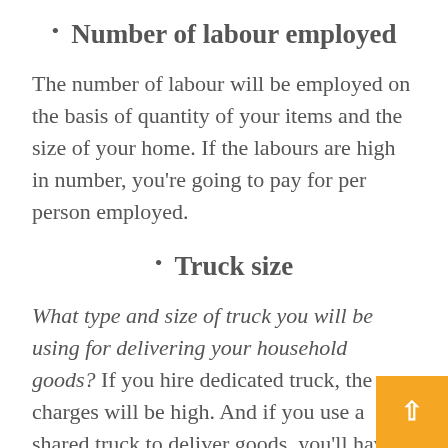Number of labour employed
The number of labour will be employed on the basis of quantity of your items and the size of your home. If the labours are high in number, you’re going to pay for per person employed.
Truck size
What type and size of truck you will be using for delivering your household goods? If you hire dedicated truck, the charges will be high. And if you use a shared truck to deliver goods, you’ll have to pay few bucks as